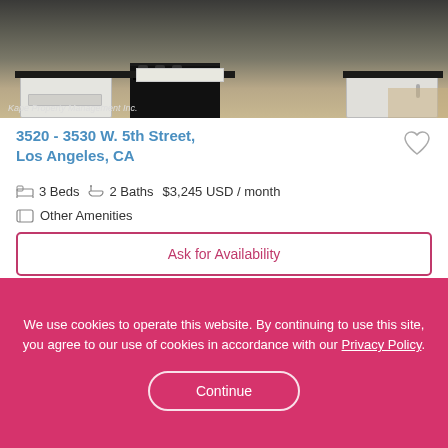[Figure (photo): Kitchen interior showing white cabinets, black countertops, and a white/black stove range. Watermark reads 'Kape Property Management Inc.']
3520 - 3530 W. 5th Street, Los Angeles, CA
3 Beds  2 Baths  $3,245 USD / month
Other Amenities
Ask for Availability
We use cookies to operate this website. By continuing to use this site, you agree to our use of cookies in accordance with our Privacy Policy.
Continue